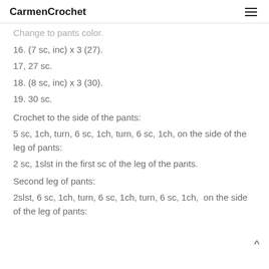CarmenCrochet
Change to pants color.
16. (7 sc, inc) x 3 (27).
17, 27 sc.
18. (8 sc, inc) x 3 (30).
19. 30 sc.
Crochet to the side of the pants:
5 sc, 1ch, turn, 6 sc, 1ch, turn, 6 sc, 1ch, on the side of the leg of pants:
2 sc, 1slst in the first sc of the leg of the pants.
Second leg of pants:
2slst, 6 sc, 1ch, turn, 6 sc, 1ch, turn, 6 sc, 1ch,  on the side of the leg of pants: